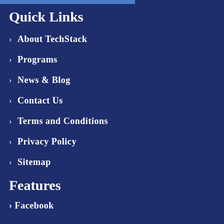Quick Links
> About TechStack
> Programs
> News & Blog
> Contact Us
> Terms and Conditions
> Privacy Policy
> Sitemap
Features
> Facebook